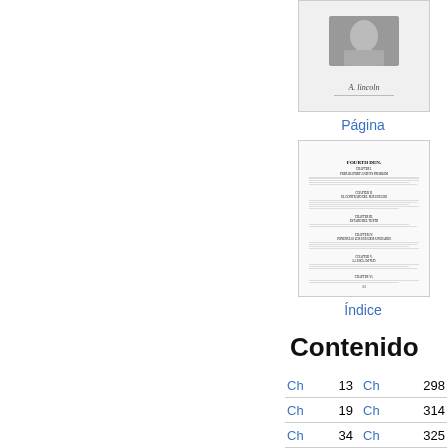[Figure (photo): Thumbnail of a portrait photo with a signature below it]
Página
[Figure (screenshot): Thumbnail of a document page showing table of contents (Índice) text in small print]
Índice
Contenido
| Ch | Page | Ch | Page |
| --- | --- | --- | --- |
| Ch | 13 | Ch | 298 |
| Ch | 19 | Ch | 314 |
| Ch | 34 | Ch | 325 |
| Ch | 60 | TK | 350 |